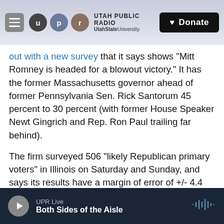[Figure (screenshot): Utah Public Radio website header with logo circles (u, p, r), UPR text, UtahStateUniversity, and Donate button on gradient background]
out with a new survey that it says shows "Mitt Romney is headed for a blowout victory." It has the former Massachusetts governor ahead of former Pennsylvania Sen. Rick Santorum 45 percent to 30 percent (with former House Speaker Newt Gingrich and Rep. Ron Paul trailing far behind).
The firm surveyed 506 "likely Republican primary voters" in Illinois on Saturday and Sunday, and says its results have a margin of error of +/- 4.4 percentage points. By the way, North Carolina Public Radio's Jessica Jones profiled PPP for All Things Considered last week. It has become "one
UPR Live — Both Sides of the Aisle